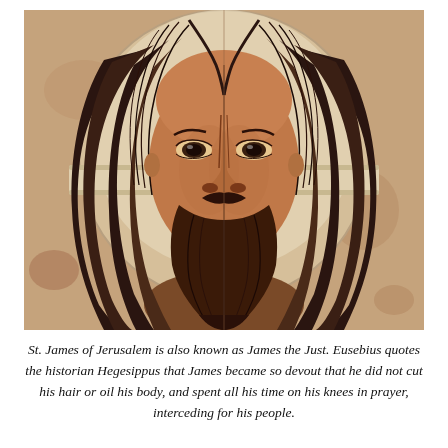[Figure (illustration): Byzantine icon painting of a face (Christ or saint) with long dark hair, beard, and a halo/nimbus, shown frontally against a warm ochre and white circular background. The style is flat and formal, characteristic of Orthodox iconography.]
St. James of Jerusalem is also known as James the Just. Eusebius quotes the historian Hegesippus that James became so devout that he did not cut his hair or oil his body, and spent all his time on his knees in prayer, interceding for his people.